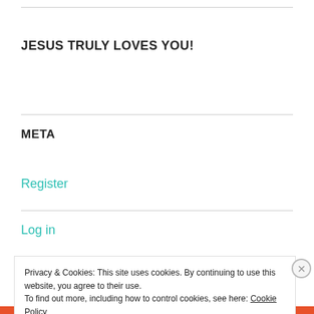JESUS TRULY LOVES YOU!
META
Register
Log in
Privacy & Cookies: This site uses cookies. By continuing to use this website, you agree to their use. To find out more, including how to control cookies, see here: Cookie Policy
Close and accept